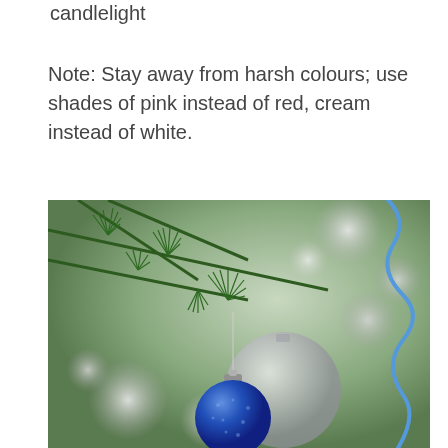candlelight
Note: Stay away from harsh colours; use shades of pink instead of red, cream instead of white.
[Figure (photo): Close-up photograph of a Christmas tree with green pine needles, a blue glitter ornament hanging in the foreground, a large silver/white ornament blurred in the middle background, and a blue ribbon on the right side. Bokeh light effects visible in the background.]